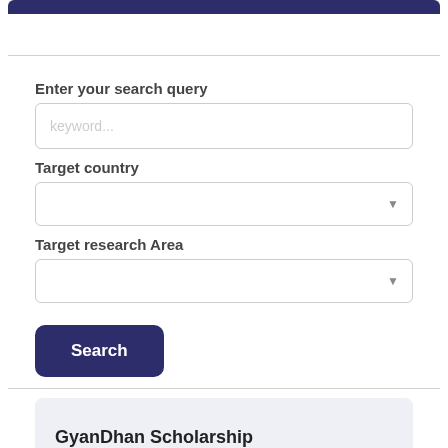Enter your search query
keyword...
Target country
Target research Area
Search
GyanDhan Scholarship